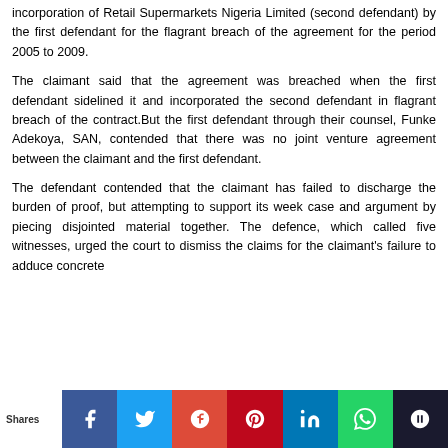incorporation of Retail Supermarkets Nigeria Limited (second defendant) by the first defendant for the flagrant breach of the agreement for the period 2005 to 2009.
The claimant said that the agreement was breached when the first defendant sidelined it and incorporated the second defendant in flagrant breach of the contract.But the first defendant through their counsel, Funke Adekoya, SAN, contended that there was no joint venture agreement between the claimant and the first defendant.
The defendant contended that the claimant has failed to discharge the burden of proof, but attempting to support its week case and argument by piecing disjointed material together. The defence, which called five witnesses, urged the court to dismiss the claims for the claimant's failure to adduce concrete
Shares [social share buttons: Facebook, Twitter, Google+, Pinterest, LinkedIn, WhatsApp, King]